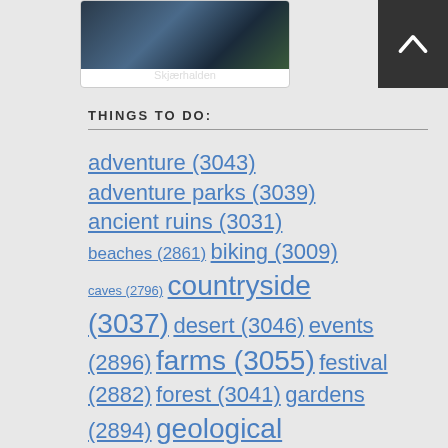[Figure (photo): Photo card of Skjærhalden location with dark outdoor/water scene image]
THINGS TO DO:
adventure (3043) adventure parks (3039) ancient ruins (3031) beaches (2861) biking (3009) caves (2796) countryside (3037) desert (3046) events (2896) farms (3055) festival (2882) forest (3041) gardens (2894) geological...